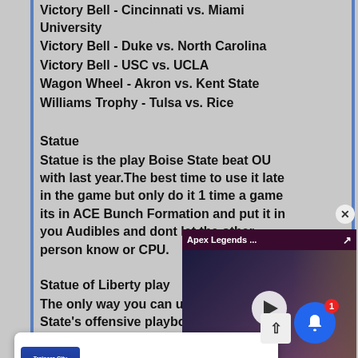Victory Bell - Cincinnati vs. Miami University
Victory Bell - Duke vs. North Carolina
Victory Bell - USC vs. UCLA
Wagon Wheel - Akron vs. Kent State
Williams Trophy - Tulsa vs. Rice
Statue
Statue is the play Boise State beat OU with last year.The best time to use it late in the game but only do it 1 time a game its in ACE Bunch Formation and put it in you Audibles and dont let the other person know or CPU.
Statue of Liberty play
The only way you can use this p... State's offensive playbook. It is ... and is labeled as "Statue".
[Figure (screenshot): Apex Legends Hunted Update video overlay with play button]
[Figure (screenshot): Trainers City Breaking News notification popup - 23 hours ago]
Trophies